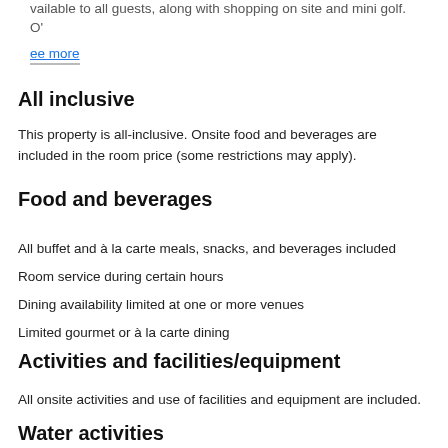vailable to all guests, along with shopping on site and mini golf. O'
ee more
All inclusive
This property is all-inclusive. Onsite food and beverages are included in the room price (some restrictions may apply).
Food and beverages
All buffet and à la carte meals, snacks, and beverages included
Room service during certain hours
Dining availability limited at one or more venues
Limited gourmet or à la carte dining
Activities and facilities/equipment
All onsite activities and use of facilities and equipment are included.
Water activities